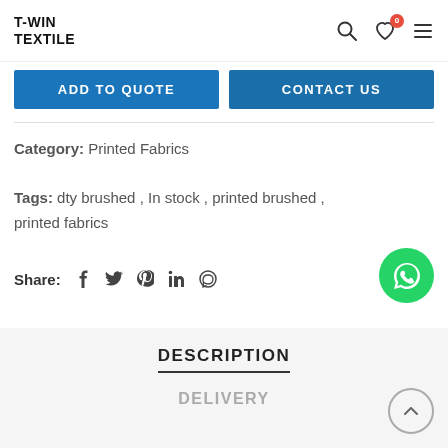T-WIN TEXTILE
ADD TO QUOTE  |  CONTACT US
Category:  Printed Fabrics
Tags:  dty brushed ,  In stock ,  printed brushed ,  printed fabrics
Share:  f  Twitter  Pinterest  in  WhatsApp
DESCRIPTION
DELIVERY